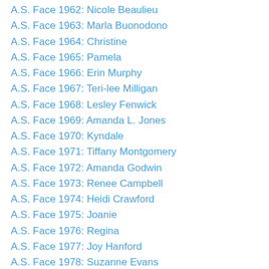A.S. Face 1962: Nicole Beaulieu
A.S. Face 1963: Marla Buonodono
A.S. Face 1964: Christine
A.S. Face 1965: Pamela
A.S. Face 1966: Erin Murphy
A.S. Face 1967: Teri-lee Milligan
A.S. Face 1968: Lesley Fenwick
A.S. Face 1969: Amanda L. Jones
A.S. Face 1970: Kyndale
A.S. Face 1971: Tiffany Montgomery
A.S. Face 1972: Amanda Godwin
A.S. Face 1973: Renee Campbell
A.S. Face 1974: Heidi Crawford
A.S. Face 1975: Joanie
A.S. Face 1976: Regina
A.S. Face 1977: Joy Hanford
A.S. Face 1978: Suzanne Evans
A.S. Face 1979: Glenda Morris
A.S. Face 1980: Sandy Fullen
A.S. Face 1981: Mick Glasser